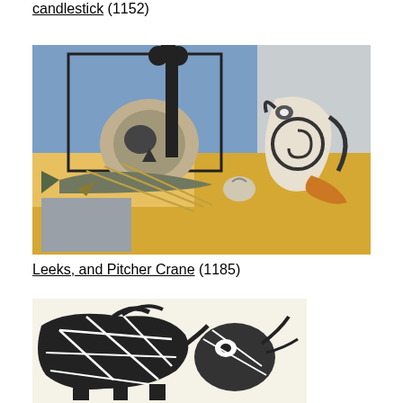candlestick (1152)
[Figure (illustration): Picasso-style cubist still life painting with guitar/skull, fish, leeks, and a pitcher in blue, grey, yellow, and orange tones]
Leeks, and Pitcher Crane (1185)
[Figure (illustration): Black and white print/etching of an abstract bull or animal with geometric lines, Picasso style]